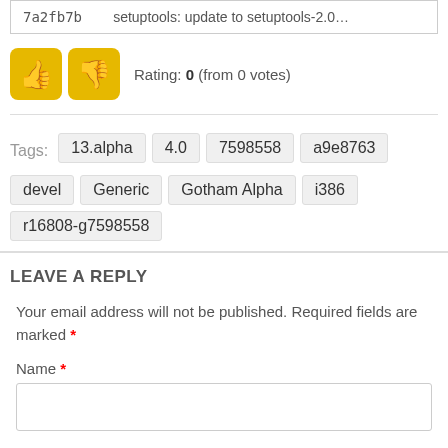7a2fb7b    setuptools: update to setuptools-2.0...
Rating: 0 (from 0 votes)
Tags: 13.alpha  4.0  7598558  a9e8763  devel  Generic  Gotham Alpha  i386  r16808-g7598558
LEAVE A REPLY
Your email address will not be published. Required fields are marked *
Name *